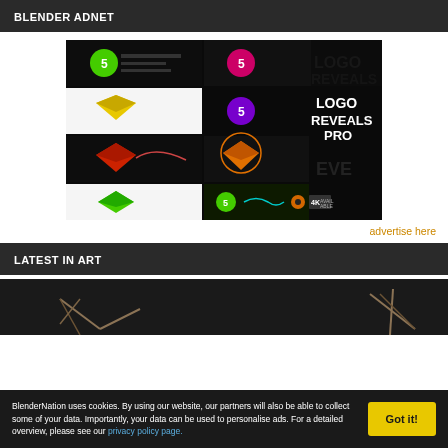BLENDER ADNET
[Figure (illustration): Logo Reveals Pro advertisement banner showing multiple colored logo reveal animations with 'LOGO REVEALS PRO' text, Blender logo, and 4K AVAILABLE badge]
advertise here
LATEST IN ART
[Figure (illustration): Behind the scenes art section with dark background showing partial 3D rendered structures/sculptures]
BEHIND THE SCENES
BlenderNation uses cookies. By using our website, our partners will also be able to collect some of your data. Importantly, your data can be used to personalise ads. For a detailed overview, please see our privacy policy page.